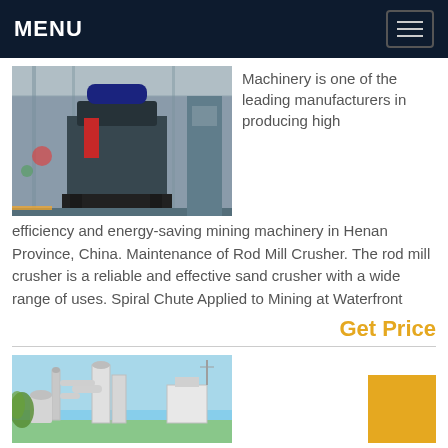MENU
[Figure (photo): Industrial mining machinery on a factory floor]
Machinery is one of the leading manufacturers in producing high efficiency and energy-saving mining machinery in Henan Province, China. Maintenance of Rod Mill Crusher. The rod mill crusher is a reliable and effective sand crusher with a wide range of uses. Spiral Chute Applied to Mining at Waterfront
Get Price
[Figure (photo): Outdoor industrial milling/grinding equipment with pipes and silos]